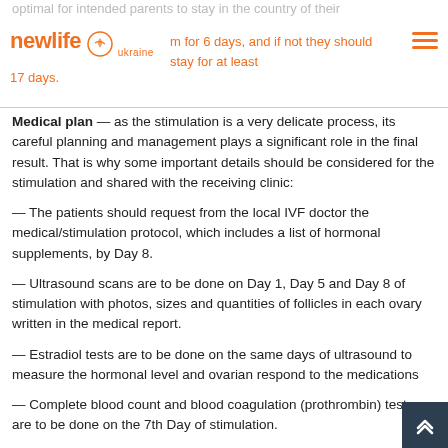optimal for intended parents to stay in the country of their [logo] m for 6 days, and if not they should stay for at least 17 days.
Medical plan — as the stimulation is a very delicate process, its careful planning and management plays a significant role in the final result. That is why some important details should be considered for the stimulation and shared with the receiving clinic:
— The patients should request from the local IVF doctor the medical/stimulation protocol, which includes a list of hormonal supplements, by Day 8.
— Ultrasound scans are to be done on Day 1, Day 5 and Day 8 of stimulation with photos, sizes and quantities of follicles in each ovary written in the medical report.
— Estradiol tests are to be done on the same days of ultrasound to measure the hormonal level and ovarian respond to the medications
— Complete blood count and blood coagulation (prothrombin) tests are to be done on the 7th Day of stimulation.
After the IVF doctor of the receiving clinic examines the patient personally they tell them when to take the final trigger shot which is